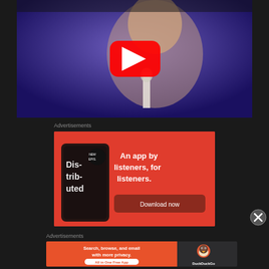[Figure (screenshot): YouTube video thumbnail showing a person singing into a microphone on a blue-lit stage, with the YouTube play button overlay in the center]
Advertisements
[Figure (screenshot): Red advertisement banner for a podcast app: 'An app by listeners, for listeners.' with a phone mockup showing 'Dis-trib-uted' podcast app and a 'Download now' button]
[Figure (other): Close/dismiss button (X circle)]
Advertisements
[Figure (screenshot): DuckDuckGo advertisement: 'Search, browse, and email with more privacy. All in One Free App' with DuckDuckGo logo on dark right panel]